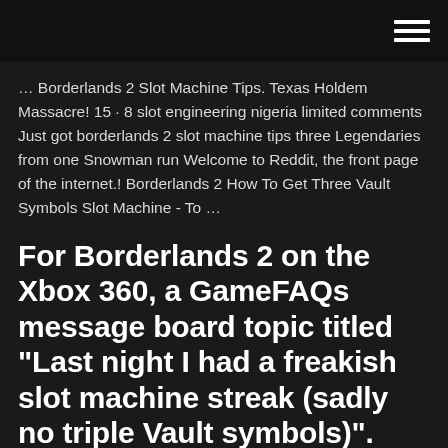… Borderlands 2 Slot Machine Tips. Texas Holdem Massacre! 15 · 8 slot engineering nigeria limited comments Just got borderlands 2 slot machine tips three Legendaries from one Snowman run Welcome to Reddit, the front page of the internet.! Borderlands 2 How To Get Three Vault Symbols Slot Machine - To …
For Borderlands 2 on the Xbox 360, a GameFAQs message board topic titled "Last night I had a freakish slot machine streak (sadly no triple Vault symbols)".
Old Dahlwell Oasis (The Dust) inside of the abandoned gas